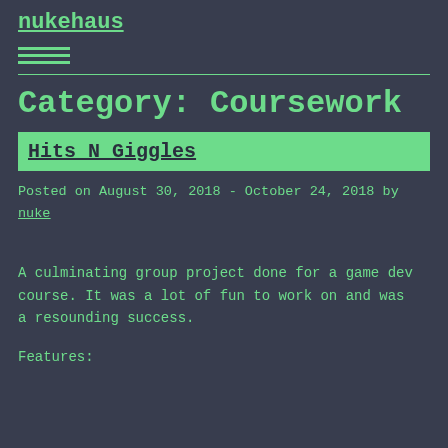nukehaus
Category: Coursework
Hits N Giggles
Posted on August 30, 2018 - October 24, 2018 by nuke
A culminating group project done for a game dev course. It was a lot of fun to work on and was a resounding success.
Features: